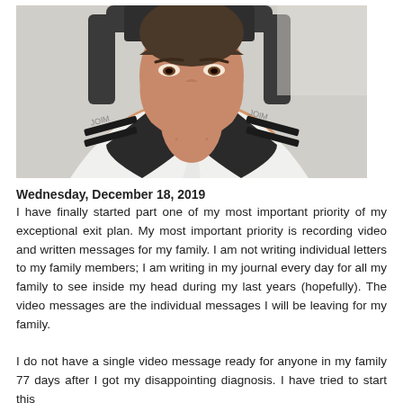[Figure (photo): A person wearing a white martial arts uniform (gi) with black accents sitting in a dark chair, photographed from roughly chest-up as a selfie. Person's face is visible but cropped slightly at forehead. Room background appears light-colored.]
Wednesday, December 18, 2019
I have finally started part one of my most important priority of my exceptional exit plan. My most important priority is recording video and written messages for my family. I am not writing individual letters to my family members; I am writing in my journal every day for all my family to see inside my head during my last years (hopefully). The video messages are the individual messages I will be leaving for my family.

I do not have a single video message ready for anyone in my family 77 days after I got my disappointing diagnosis. I have tried to start this